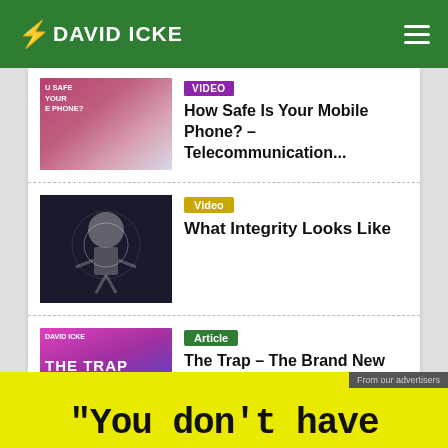DAVID ICKE
VIDEO - How Safe Is Your Mobile Phone? - Telecommunication...
Video - What Integrity Looks Like
Article - The Trap – The Brand New Book By David Icke – ...
"You don't have